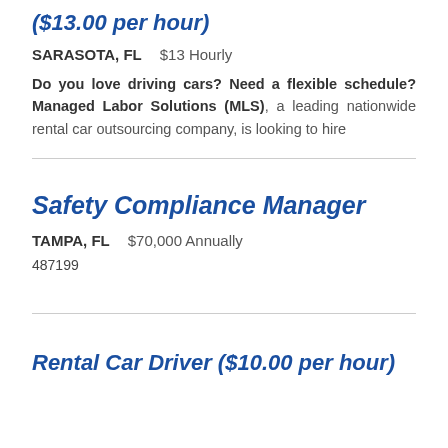($13.00 per hour)
SARASOTA, FL   $13 Hourly
Do you love driving cars? Need a flexible schedule? Managed Labor Solutions (MLS), a leading nationwide rental car outsourcing company, is looking to hire
Safety Compliance Manager
TAMPA, FL   $70,000 Annually
487199
Rental Car Driver ($10.00 per hour)